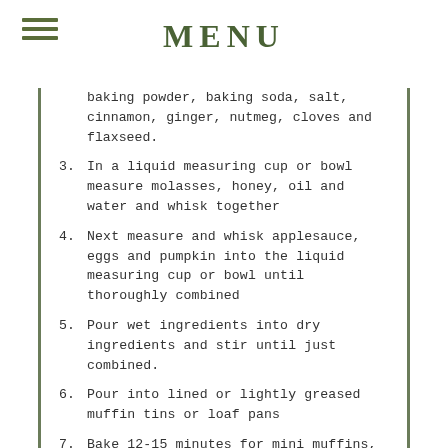MENU
baking powder, baking soda, salt, cinnamon, ginger, nutmeg, cloves and flaxseed.
3. In a liquid measuring cup or bowl measure molasses, honey, oil and water and whisk together
4. Next measure and whisk applesauce, eggs and pumpkin into the liquid measuring cup or bowl until thoroughly combined
5. Pour wet ingredients into dry ingredients and stir until just combined.
6. Pour into lined or lightly greased muffin tins or loaf pans
7. Bake 12-15 minutes for mini muffins, 22 minutes for regular size muffins, 30